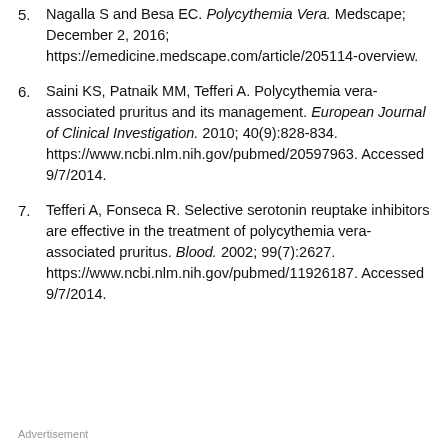5. Nagalla S and Besa EC. Polycythemia Vera. Medscape; December 2, 2016; https://emedicine.medscape.com/article/205114-overview.
6. Saini KS, Patnaik MM, Tefferi A. Polycythemia vera-associated pruritus and its management. European Journal of Clinical Investigation. 2010; 40(9):828-834. https://www.ncbi.nlm.nih.gov/pubmed/20597963. Accessed 9/7/2014.
7. Tefferi A, Fonseca R. Selective serotonin reuptake inhibitors are effective in the treatment of polycythemia vera-associated pruritus. Blood. 2002; 99(7):2627. https://www.ncbi.nlm.nih.gov/pubmed/11926187. Accessed 9/7/2014.
Advertisement